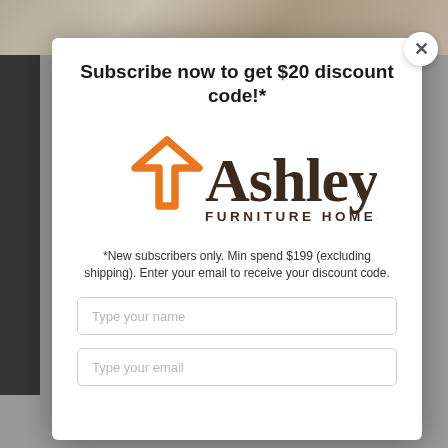[Figure (screenshot): Ashley Furniture HomeStore website modal popup with subscription offer]
Subscribe now to get $20 discount code!*
[Figure (logo): Ashley Furniture HomeStore logo with orange house outline and dark text]
*New subscribers only. Min spend $199 (excluding shipping). Enter your email to receive your discount code.
Type your name
Type your email